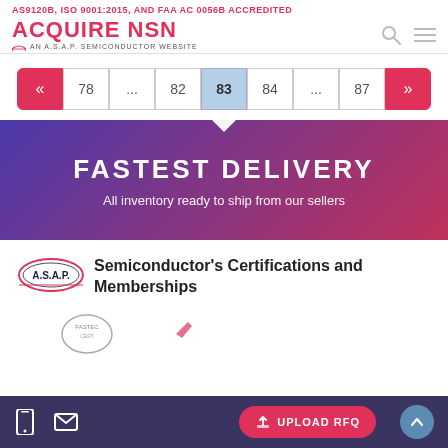AS9120B, ISO 9001:2015, AND FAA AC 0056B ACCREDITED
[Figure (logo): ACQUIRE NSN logo with AN A.S.A.P. SEMICONDUCTOR WEBSITE tagline, search icon, and hamburger menu icon]
« 78 ... 82 83 84 ... 87 »
[Figure (infographic): Gradient banner from purple to pink with text FASTEST DELIVERY and subtitle All inventory ready to ship from our sellers]
FASTEST DELIVERY
All inventory ready to ship from our sellers
[Figure (logo): A.S.A.P. Semiconductor oval logo]
Semiconductor's Certifications and Memberships
[Figure (other): Partial certification badge icons at the bottom of the page]
UPLOAD RFQ